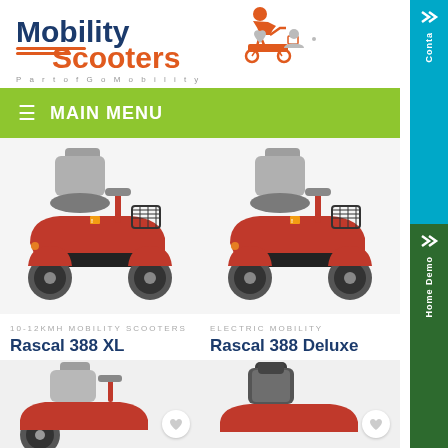[Figure (logo): Mobility Scooters logo with person on scooter icon and orange lines. Tagline: Part of Go Mobility]
MAIN MENU
[Figure (photo): Red Rascal 388 XL mobility scooter, side view with basket]
10-12 KMH MOBILITY SCOOTERS
Rascal 388 XL
€1,694.00
[Figure (photo): Red Rascal 388 Deluxe mobility scooter, side view with basket]
ELECTRIC MOBILITY
Rascal 388 Deluxe
€2,035.00
[Figure (photo): Partial view of another mobility scooter product, bottom left]
[Figure (photo): Partial view of another mobility scooter product, bottom right]